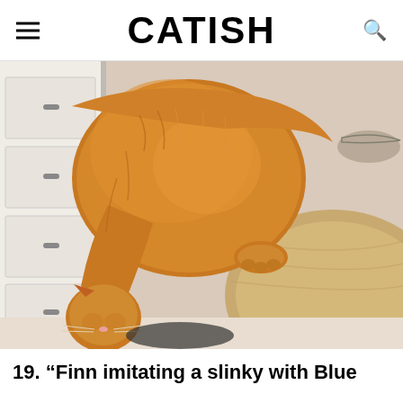CATISH
[Figure (photo): Orange tabby cat bent over the edge of a wooden table, with its head hanging down and front paws gripping the table edge, resembling a slinky. White drawer unit visible in the background.]
19. “Finn imitating a slinky with Blue